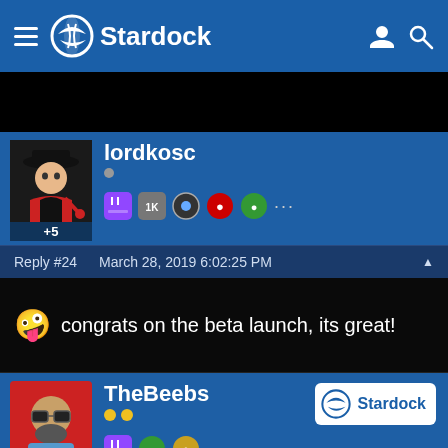Stardock
[Figure (screenshot): Black ad banner area]
lordkosc +5
Reply #24   March 28, 2019 6:02:25 PM
congrats on the beta launch, its great!
TheBeebs +6
Reply #25   March 28, 2019 6:19:28 PM
I'm going to kill do many alien machines tonight!